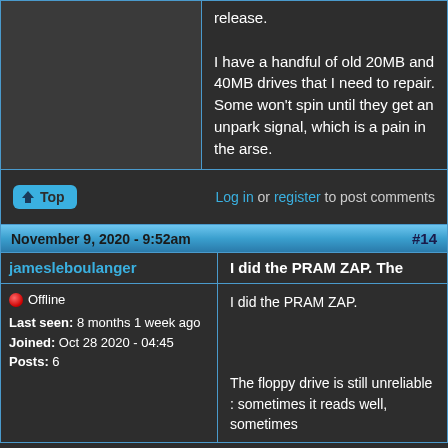release.

I have a handful of old 20MB and 40MB drives that I need to repair. Some won't spin until they get an unpark signal, which is a pain in the arse.
Log in or register to post comments
November 9, 2020 - 9:52am   #14
jamesleboulanger   I did the PRAM ZAP.  The
Offline
Last seen: 8 months 1 week ago
Joined: Oct 28 2020 - 04:45
Posts: 6
I did the PRAM ZAP.

The floppy drive is still unreliable : sometimes it reads well, sometimes